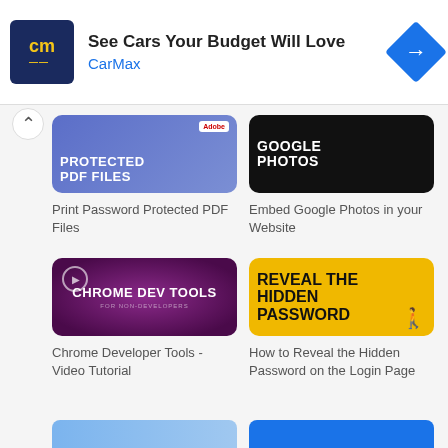[Figure (screenshot): CarMax advertisement banner with logo, headline 'See Cars Your Budget Will Love', brand name 'CarMax', and navigation arrow diamond icon]
[Figure (screenshot): Thumbnail for 'Print Password Protected PDF Files' article showing blue gradient background with white bold text and Adobe logo]
Print Password Protected PDF Files
[Figure (screenshot): Thumbnail for 'Embed Google Photos in your Website' showing black background with white bold text 'GOOGLE PHOTOS' and a person silhouette]
Embed Google Photos in your Website
[Figure (screenshot): Thumbnail for 'Chrome Developer Tools - Video Tutorial' showing purple radial gradient background with play button icon and 'CHROME DEV TOOLS' text]
Chrome Developer Tools - Video Tutorial
[Figure (screenshot): Thumbnail for 'How to Reveal the Hidden Password on the Login Page' showing yellow background with bold black text 'REVEAL THE HIDDEN PASSWORD' and person silhouette]
How to Reveal the Hidden Password on the Login Page